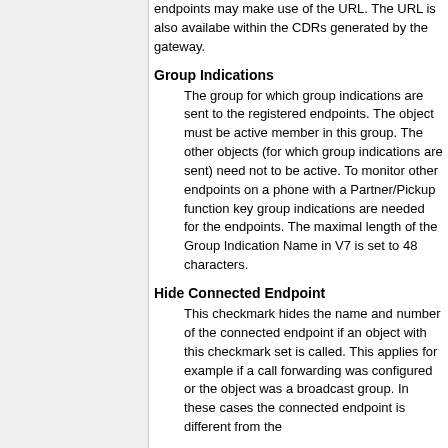endpoints may make use of the URL. The URL is also availabe within the CDRs generated by the gateway.
Group Indications
The group for which group indications are sent to the registered endpoints. The object must be active member in this group. The other objects (for which group indications are sent) need not to be active. To monitor other endpoints on a phone with a Partner/Pickup function key group indications are needed for the endpoints. The maximal length of the Group Indication Name in V7 is set to 48 characters.
Hide Connected Endpoint
This checkmark hides the name and number of the connected endpoint if an object with this checkmark set is called. This applies for example if a call forwarding was configured or the object was a broadcast group. In these cases the connected endpoint is different from the